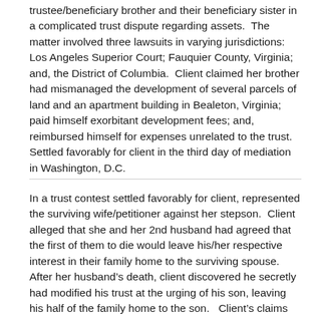trustee/beneficiary brother and their beneficiary sister in a complicated trust dispute regarding assets.  The matter involved three lawsuits in varying jurisdictions:  Los Angeles Superior Court; Fauquier County, Virginia; and, the District of Columbia.  Client claimed her brother had mismanaged the development of several parcels of land and an apartment building in Bealeton, Virginia; paid himself exorbitant development fees; and, reimbursed himself for expenses unrelated to the trust.  Settled favorably for client in the third day of mediation in Washington, D.C.
In a trust contest settled favorably for client, represented the surviving wife/petitioner against her stepson.  Client alleged that she and her 2nd husband had agreed that the first of them to die would leave his/her respective interest in their family home to the surviving spouse.  After her husband's death, client discovered he secretly had modified his trust at the urging of his son, leaving his half of the family home to the son.   Client's claims included breach of contract to make testamentary disposition; breach of marital fiduciary duty; tortious interference with right to inherit; and, breach of